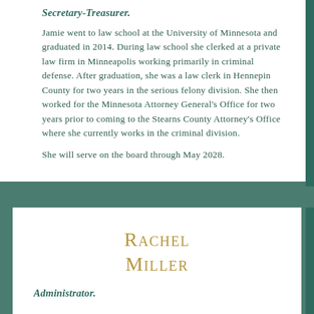Secretary-Treasurer.
Jamie went to law school at the University of Minnesota and graduated in 2014. During law school she clerked at a private law firm in Minneapolis working primarily in criminal defense. After graduation, she was a law clerk in Hennepin County for two years in the serious felony division. She then worked for the Minnesota Attorney General's Office for two years prior to coming to the Stearns County Attorney's Office where she currently works in the criminal division.
She will serve on the board through May 2028.
Rachel Miller
Administrator.